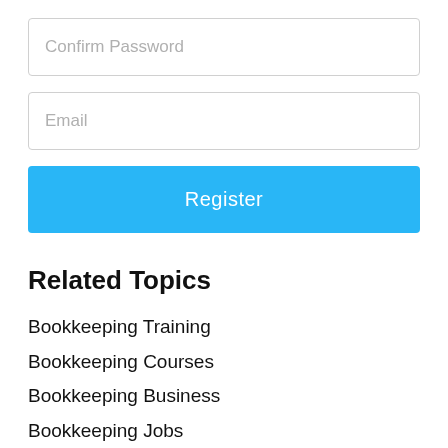[Figure (screenshot): Confirm Password input field with placeholder text]
[Figure (screenshot): Email input field with placeholder text]
[Figure (screenshot): Register button in blue]
Related Topics
Bookkeeping Training
Bookkeeping Courses
Bookkeeping Business
Bookkeeping Jobs
Accounting Bookkeeping